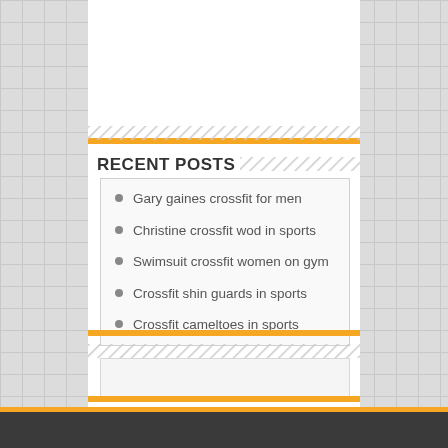RECENT POSTS
Gary gaines crossfit for men
Christine crossfit wod in sports
Swimsuit crossfit women on gym
Crossfit shin guards in sports
Crossfit cameltoes in sports